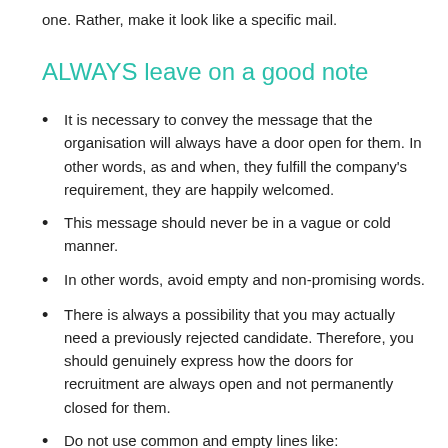one. Rather, make it look like a specific mail.
ALWAYS leave on a good note
It is necessary to convey the message that the organisation will always have a door open for them. In other words, as and when, they fulfill the company's requirement, they are happily welcomed.
This message should never be in a vague or cold manner.
In other words, avoid empty and non-promising words.
There is always a possibility that you may actually need a previously rejected candidate. Therefore, you should genuinely express how the doors for recruitment are always open and not permanently closed for them.
Do not use common and empty lines like: